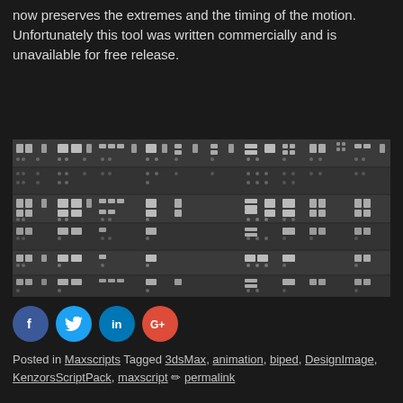now preserves the extremes and the timing of the motion. Unfortunately this tool was written commercially and is unavailable for free release.
[Figure (screenshot): Screenshot of animation curve editor or frame/keyframe grid UI with dark background and white/grey dot and block patterns arranged in rows across multiple bands.]
[Figure (infographic): Social share buttons: Facebook (blue), Twitter (light blue), LinkedIn (blue), Google+ (red/orange)]
Posted in Maxscripts Tagged 3dsMax, animation, biped, DesignImage, KenzorsScriptPack, maxscript ✏ permalink
← Make more space by using smaller buttons in 3dsMax   Emma Coats story basics →